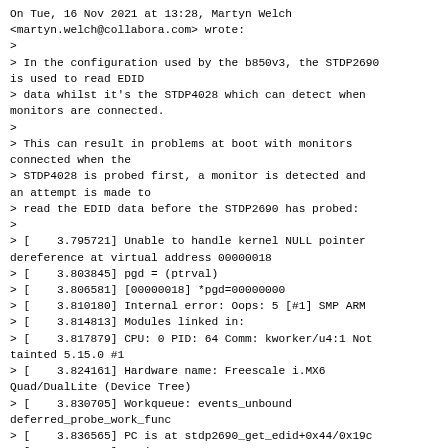On Tue, 16 Nov 2021 at 13:28, Martyn Welch <martyn.welch@collabora.com> wrote:
>
> In the configuration used by the b850v3, the STDP2690 is used to read EDID
> data whilst it's the STDP4028 which can detect when monitors are connected.
>
> This can result in problems at boot with monitors connected when the
> STDP4028 is probed first, a monitor is detected and an attempt is made to
> read the EDID data before the STDP2690 has probed:
>
> [    3.795721] Unable to handle kernel NULL pointer dereference at virtual address 00000018
> [    3.803845] pgd = (ptrval)
> [    3.806581] [00000018] *pgd=00000000
> [    3.810180] Internal error: Oops: 5 [#1] SMP ARM
> [    3.814813] Modules linked in:
> [    3.817879] CPU: 0 PID: 64 Comm: kworker/u4:1 Not tainted 5.15.0 #1
> [    3.824161] Hardware name: Freescale i.MX6 Quad/DualLite (Device Tree)
> [    3.830705] Workqueue: events_unbound deferred_probe_work_func
> [    3.836565] PC is at stdp2690_get_edid+0x44/0x19c
> [    3.841286] LR is at
ge_b850v3_lvds_get_modes+0x2c/0x5c